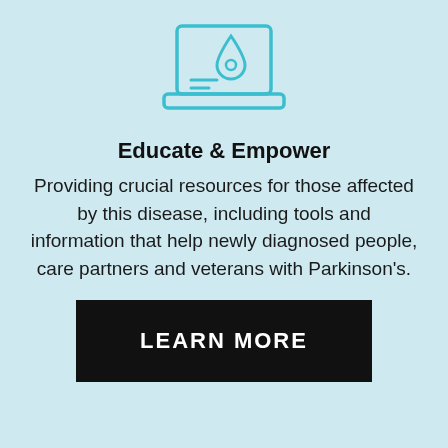[Figure (illustration): A teal/cyan line-art icon of a laptop computer with a medical drop/teardrop symbol and horizontal lines on the screen, representing online health resources.]
Educate & Empower
Providing crucial resources for those affected by this disease, including tools and information that help newly diagnosed people, care partners and veterans with Parkinson's.
LEARN MORE